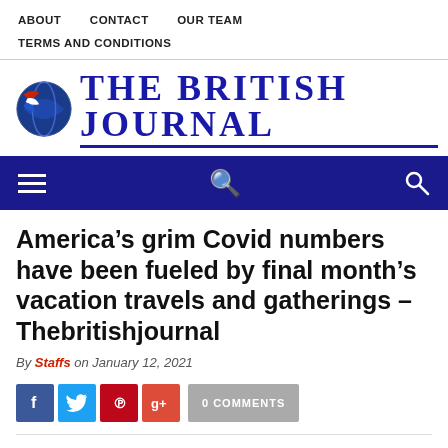ABOUT   CONTACT   OUR TEAM   TERMS AND CONDITIONS
[Figure (logo): The British Journal logo with globe icon and bold blue serif text]
[Figure (infographic): Dark navy navigation bar with hamburger menu icon on left and search icon on right]
America’s grim Covid numbers have been fueled by final month’s vacation travels and gatherings – Thebritishjournal
By Staffs on January 12, 2021
0 COMMENTS